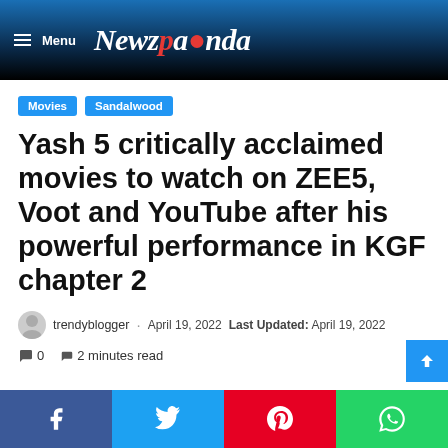Menu  Newzpanda
Movies  Sandalwood
Yash 5 critically acclaimed movies to watch on ZEE5, Voot and YouTube after his powerful performance in KGF chapter 2
trendyblogger · April 19, 2022  Last Updated: April 19, 2022
0  2 minutes read
Facebook  Twitter  Pinterest  WhatsApp